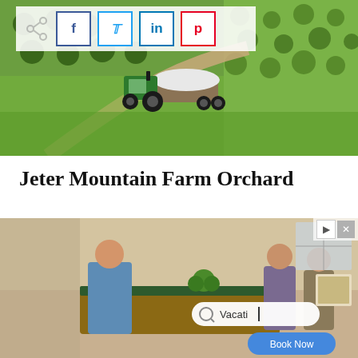[Figure (photo): Aerial view of a green orchard farm with a green John Deere tractor pulling a trailer covered with white tarp along a dirt path between rows of trees.]
[Figure (infographic): Social media share icons: Facebook (f), Twitter (bird), LinkedIn (in), Pinterest (p) in a white semi-transparent bar.]
Jeter Mountain Farm Orchard
Jeter Mountain Farm is located in Hendersonville, North Carolina, and has been active farm since 1813.  When visiting, you can
[Figure (screenshot): Advertisement overlay showing a kitchen scene with people cooking, a search bar with 'Vacati' typed, and a 'Book Now' button.]